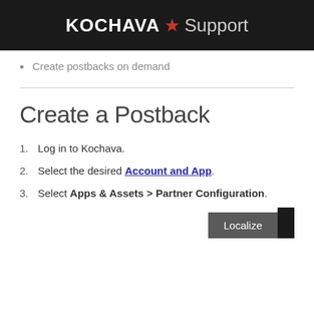KOCHAVA ★ Support
Create postbacks on demand
Create a Postback
1. Log in to Kochava.
2. Select the desired Account and App.
3. Select Apps & Assets > Partner Configuration.